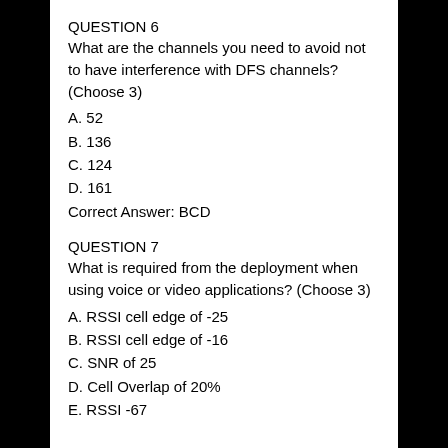QUESTION 6
What are the channels you need to avoid not to have interference with DFS channels? (Choose 3)
A. 52
B. 136
C. 124
D. 161
Correct Answer: BCD
QUESTION 7
What is required from the deployment when using voice or video applications? (Choose 3)
A. RSSI cell edge of -25
B. RSSI cell edge of -16
C. SNR of 25
D. Cell Overlap of 20%
E. RSSI -67